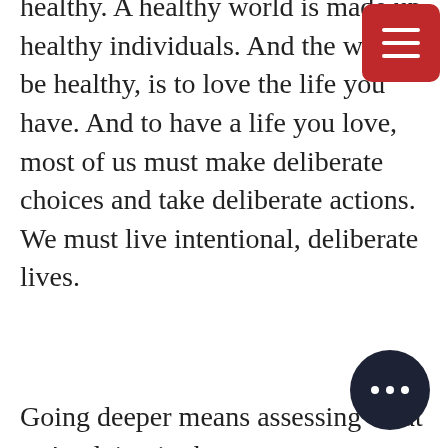healthy. A healthy world is made up healthy individuals. And the way to be healthy, is to love the life you have. And to have a life you love, most of us must make deliberate choices and take deliberate actions. We must live intentional, deliberate lives.
Going deeper means assessing what we're doing in the present moment and either deciding to keep doing those things or to stop and make some adjustments or tweaks.
This brings to me to Cheryl Richardson's wonderful book.
In one chapter she wrote about tolerations. She asked, "What are tolerating right now that is draining